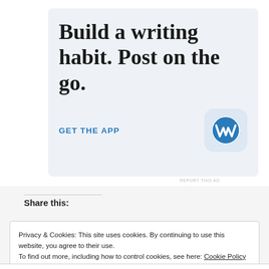[Figure (illustration): WordPress app advertisement banner with large serif text 'Build a writing habit. Post on the go.', a blue 'GET THE APP' link, and the WordPress 'W' logo icon in a rounded square.]
REPORT THIS AD
Share this:
Privacy & Cookies: This site uses cookies. By continuing to use this website, you agree to their use.
To find out more, including how to control cookies, see here: Cookie Policy
Close and accept